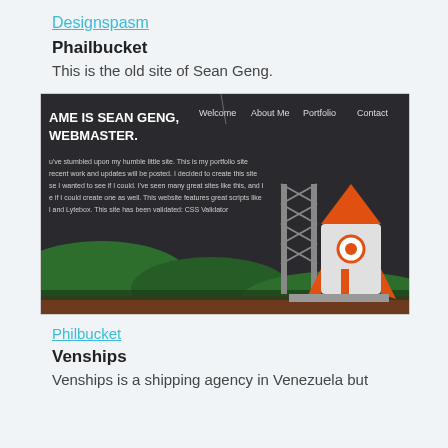Designspasm
Phailbucket
This is the old site of Sean Geng.
[Figure (screenshot): Screenshot of Phailbucket website showing a dark-themed portfolio page with the text 'MY NAME IS SEAN GENG, WEBMASTER.' on the left, navigation links (Welcome, About Me, Portfolio, Contact) at the top right, body text describing the site, and an illustration of a rocket on a launch tower with green hills at the bottom.]
Philbucket
Venships
Venships is a shipping agency in Venezuela but